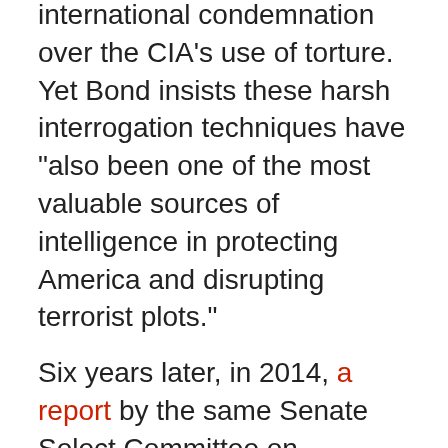international condemnation over the CIA's use of torture. Yet Bond insists these harsh interrogation techniques have "also been one of the most valuable sources of intelligence in protecting America and disrupting terrorist plots."
Six years later, in 2014, a report by the same Senate Select Committee on Intelligence admitted that the CIA's brutal torture techniques were in fact not effective.
Iran
"The Conundrum of Iran," a 2007 memo written by Brennan with a series of recommendations for the upcoming 2009 president, foreshadows the policy of